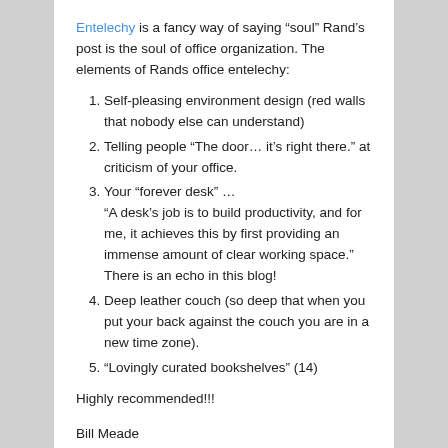Entelechy is a fancy way of saying “soul” Rand’s post is the soul of office organization. The elements of Rands office entelechy:
Self-pleasing environment design (red walls that nobody else can understand)
Telling people “The door… it’s right there.” at criticism of your office.
Your “forever desk” … “A desk’s job is to build productivity, and for me, it achieves this by first providing an immense amount of clear working space.” There is an echo in this blog!
Deep leather couch (so deep that when you put your back against the couch you are in a new time zone).
“Lovingly curated bookshelves” (14)
Highly recommended!!!
Bill Meade